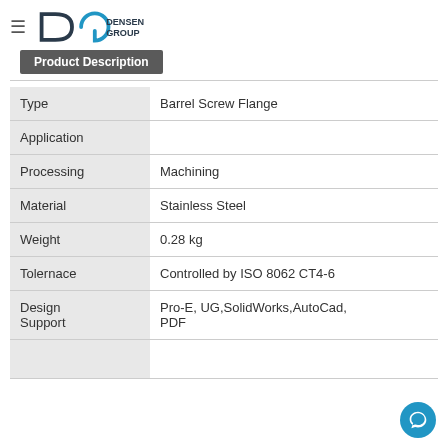Densen Group
Product Description
| Field | Value |
| --- | --- |
| Type | Barrel Screw Flange |
| Application |  |
| Processing | Machining |
| Material | Stainless Steel |
| Weight | 0.28 kg |
| Tolernace | Controlled by ISO 8062 CT4-6 |
| Design Support | Pro-E, UG,SolidWorks,AutoCad,PDF |